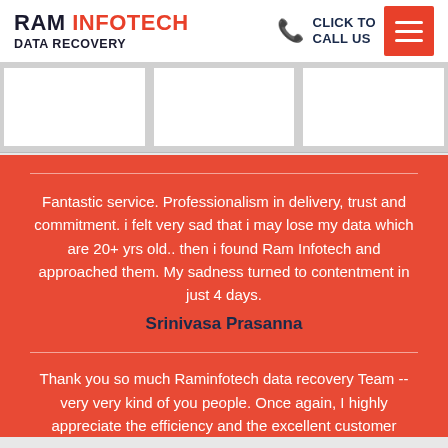RAM INFOTECH DATA RECOVERY
CLICK TO CALL US
Fantastic service. Professionalism in delivery, trust and commitment. i felt very sad that i may lose my data which are 20+ yrs old.. then i found Ram Infotech and approached them. My sadness turned to contentment in just 4 days. Srinivasa Prasanna
Thank you so much Raminfotech data recovery Team -- very very kind of you people. Once again, I highly appreciate the efficiency and the excellent customer